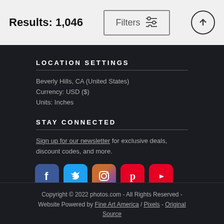Results: 1,046
Filters
LOCATION SETTINGS
Beverly Hills, CA (United States)
Currency: USD ($)
Units: Inches
STAY CONNECTED
Sign up for our newsletter for exclusive deals, discount codes, and more.
[Figure (illustration): Social media icons: Facebook, Twitter, Instagram, Pinterest, YouTube]
Copyright © 2022 photos.com - All Rights Reserved - Website Powered by Fine Art America / Pixels - Original Source